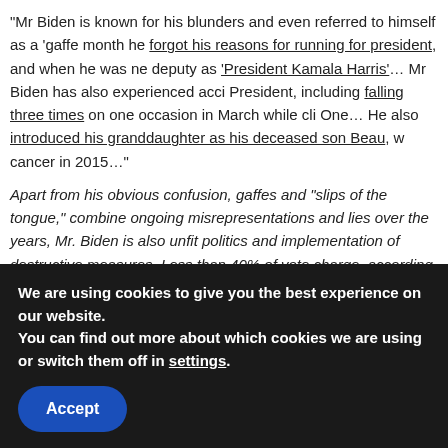“Mr Biden is known for his blunders and even referred to himself as a ‘gaffe month he forgot his reasons for running for president, and when he was ne deputy as ‘President Kamala Harris’… Mr Biden has also experienced acci President, including falling three times on one occasion in March while cli One… He also introduced his granddaughter as his deceased son Beau, w cancer in 2015…”
Apart from his obvious confusion, gaffes and “slips of the tongue,” combine ongoing misrepresentations and lies over the years, Mr. Biden is also unfit politics and implementation of destructive measures. Less than 40% of vote charge, according to Newsmax, dated August 20. The tide is turning. The s Biden, which was a predictable catastrophe from the beginning, is ebbing a
“Biden’s Failure Could Let Trump Back in the Whit
From newspaper clipping...
We are using cookies to give you the best experience on our website.
You can find out more about which cookies we are using or switch them off in settings.